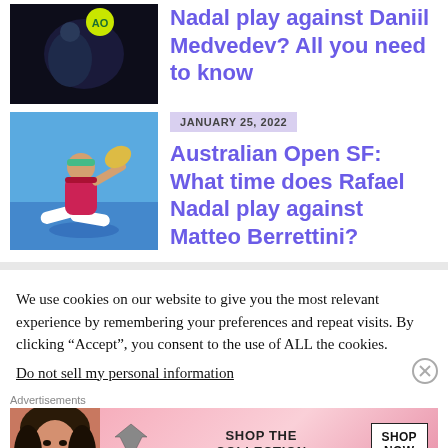[Figure (photo): Tennis player at Australian Open with AO logo ball]
Nadal play against Daniil Medvedev? All you need to know
[Figure (photo): Rafael Nadal playing tennis at Australian Open, sliding on court]
JANUARY 25, 2022
Australian Open SF: What time does Rafael Nadal play against Matteo Berrettini?
We use cookies on our website to give you the most relevant experience by remembering your preferences and repeat visits. By clicking “Accept”, you consent to the use of ALL the cookies.
Do not sell my personal information
Advertisements
[Figure (infographic): Victoria's Secret advertisement - SHOP THE COLLECTION - SHOP NOW]